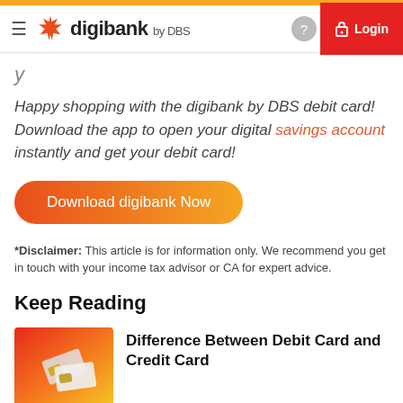digibank by DBS — Login
Happy shopping with the digibank by DBS debit card! Download the app to open your digital savings account instantly and get your debit card!
[Figure (other): Download digibank Now button — orange gradient pill-shaped CTA button]
*Disclaimer: This article is for information only. We recommend you get in touch with your income tax advisor or CA for expert advice.
Keep Reading
[Figure (photo): Thumbnail image with orange-to-red gradient background showing two debit/credit cards]
Difference Between Debit Card and Credit Card